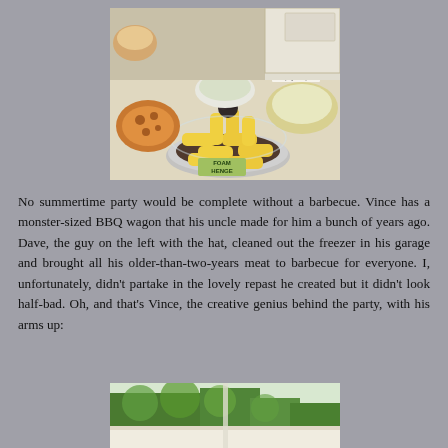[Figure (photo): Photo of a party food table showing a 'Foam Henge' arrangement of Twinkies or similar snack cakes on a round tray, a pizza, bowls of salads with handwritten labels, on a kitchen counter.]
No summertime party would be complete without a barbecue. Vince has a monster-sized BBQ wagon that his uncle made for him a bunch of years ago. Dave, the guy on the left with the hat, cleaned out the freezer in his garage and brought all his older-than-two-years meat to barbecue for everyone. I, unfortunately, didn't partake in the lovely repast he created but it didn't look half-bad. Oh, and that's Vince, the creative genius behind the party, with his arms up:
[Figure (photo): Partial photo at the bottom of the page showing an outdoor scene with green trees and a white wall or fence, presumably showing Vince with his arms up at the barbecue party.]